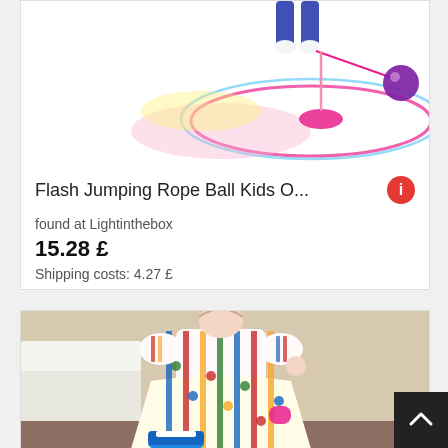[Figure (photo): Flash Jumping Rope Ball toy product image with colorful light trails on white background]
Flash Jumping Rope Ball Kids O...
found at Lightinthebox
15.28 £
Shipping costs: 4.27 £
[Figure (photo): Young girl wearing a colorful striped and polka dot dress with puff sleeves, holding a pink purse, standing near a bed]